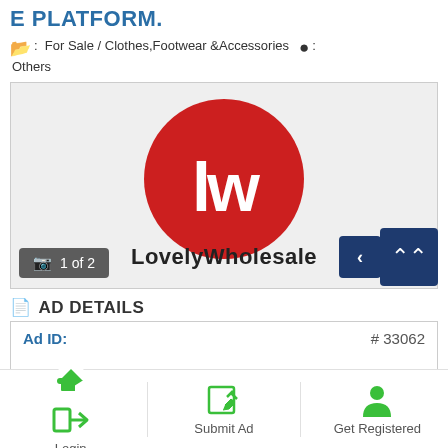E PLATFORM.
For Sale / Clothes,Footwear &Accessories  :  Others
[Figure (logo): LovelyWholesale logo — red circle with white 'lw' letters, with text 'LovelyWholesale' below. Image carousel overlay showing '1 of 2' and navigation arrows.]
AD DETAILS
Ad ID:   # 33062
Login
Submit Ad
Get Registered